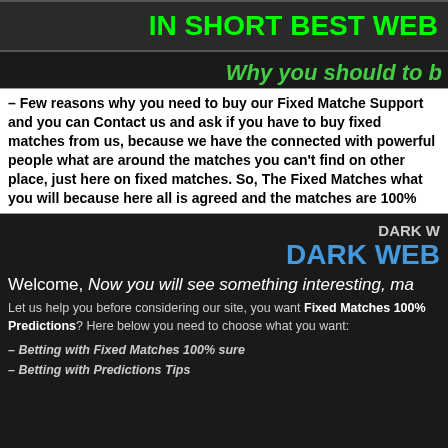IN SHORT BEST WEB
Why you should to b
– Few reasons why you need to buy our Fixed Matche Support and you can Contact us and ask if you have to buy fixed matches from us, because we have the connected with powerful people what are around the matches you can't find on other place, just here on fixed matches. So, The Fixed Matches what you will because here all is agreed and the matches are 100%
DARK W
DARK WEB
Welcome, Now you will see something interesting, ma
Let us help you before considering our site, you want Fixed Matches 100% Predictions? Here below you need to choose what you want:
– Betting with Fixed Matches 100% sure
– Betting with Predictions Tips